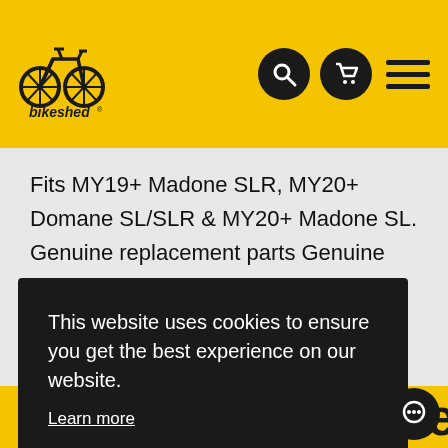[Figure (logo): Bikeshed logo: bicycle wheel icon with 'bikeshed' text, on yellow header bar]
Fits MY19+ Madone SLR, MY20+ Domane SL/SLR & MY20+ Madone SL. Genuine replacement parts Genuine replacement parts Integrates seamlessly into the frame. Integrates seamlessly into the frame. - Integrated rear light bracket cleanly mounts between
This website uses cookies to ensure you get the best experience on our website.
Learn more
Got it!
You May Also Like